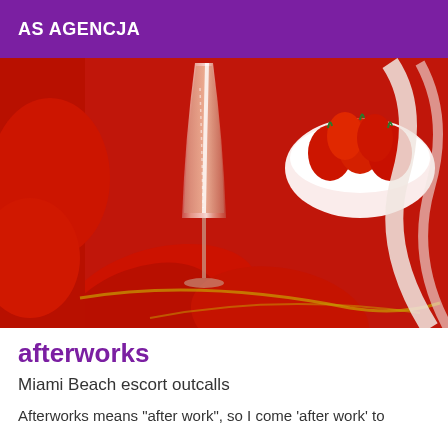AS AGENCJA
[Figure (photo): A champagne flute glass filled with rosé champagne surrounded by red rose petals and a white bowl of strawberries on a red background.]
afterworks
Miami Beach escort outcalls
Afterworks means "after work", so I come 'after work' to